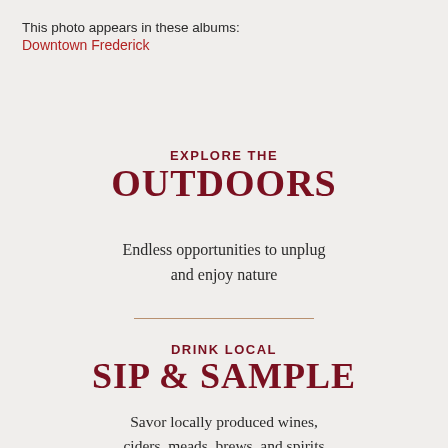This photo appears in these albums:
Downtown Frederick
EXPLORE THE
OUTDOORS
Endless opportunities to unplug and enjoy nature
DRINK LOCAL
SIP & SAMPLE
Savor locally produced wines, ciders, meads, brews, and spirits